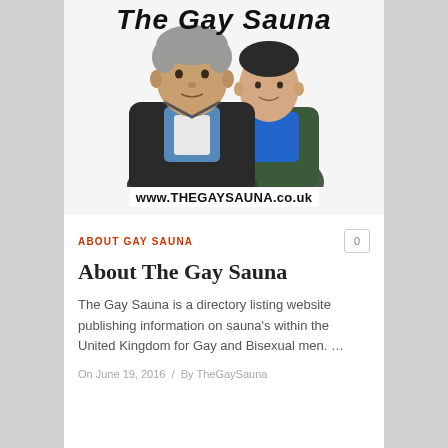[Figure (photo): Banner image for The Gay Sauna website showing two men in jackets against a white background, with the title 'The Gay Sauna' at the top and the URL www.THEGAYSAUNA.co.uk overlaid at the bottom]
ABOUT GAY SAUNA
About The Gay Sauna
The Gay Sauna is a directory listing website publishing information on sauna's within the United Kingdom for Gay and Bisexual men. …
On June 19, 2016 / By TheGaySauna